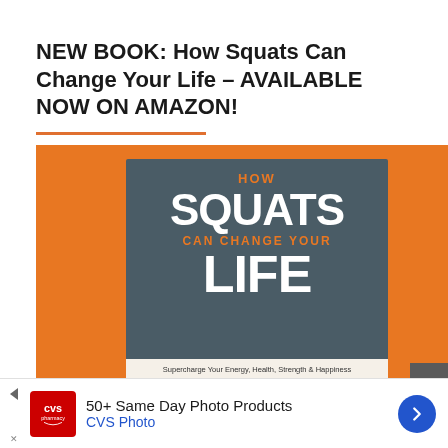NEW BOOK: How Squats Can Change Your Life – AVAILABLE NOW ON AMAZON!
[Figure (illustration): Book cover for 'How Squats Can Change Your Life' on an orange background. The cover features a dark slate/teal panel with the title in large white bold text: 'HOW SQUATS CAN CHANGE YOUR LIFE' with 'HOW' and 'CAN CHANGE YOUR' in orange. Subtitle reads: 'Supercharge Your Energy, Health, Strength & Happiness with Squats in Just 10 Minutes a Day! SUITABLE FOR EVERYONE']
50+ Same Day Photo Products
CVS Photo